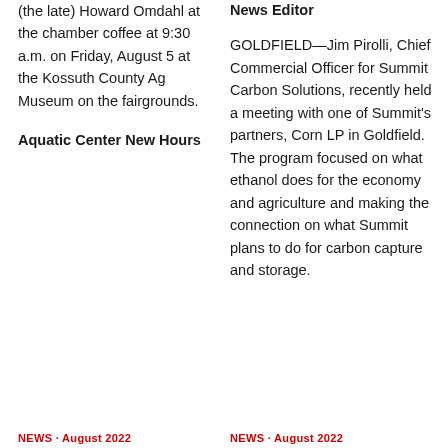(the late) Howard Omdahl at the chamber coffee at 9:30 a.m. on Friday, August 5 at the Kossuth County Ag Museum on the fairgrounds.
Aquatic Center New Hours
News Editor
GOLDFIELD—Jim Pirolli, Chief Commercial Officer for Summit Carbon Solutions, recently held a meeting with one of Summit's partners, Corn LP in Goldfield. The program focused on what ethanol does for the economy and agriculture and making the connection on what Summit plans to do for carbon capture and storage.
NEWS · August 2022
NEWS · August 2022